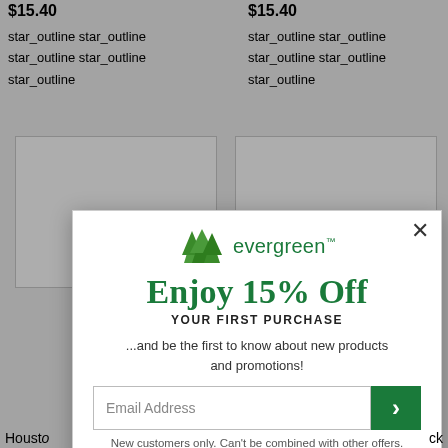$15.40
star_outline star_outline star_outline star_outline star_outline
$15.40
star_outline star_outline star_outline star_outline star_outline
[Figure (screenshot): Two white product card boxes with partially visible gold ornament images]
[Figure (screenshot): Evergreen brand popup modal with 15% off discount offer, email signup form, close button, and disclaimer]
Houston
ck